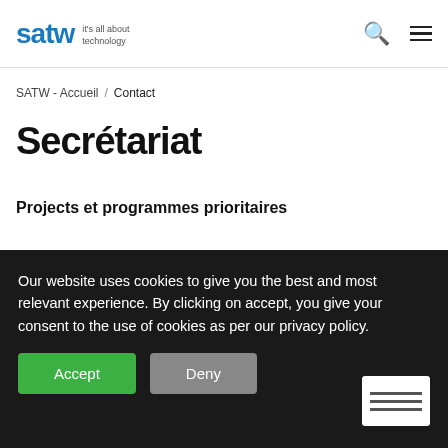satw it's all about technology
SATW - Accueil / Contact
Secrétariat
Projects et programmes prioritaires
[Figure (photo): Partial photo of a person, cropped by cookie consent banner]
Our website uses cookies to give you the best and most relevant experience. By clicking on accept, you give your consent to the use of cookies as per our privacy policy.